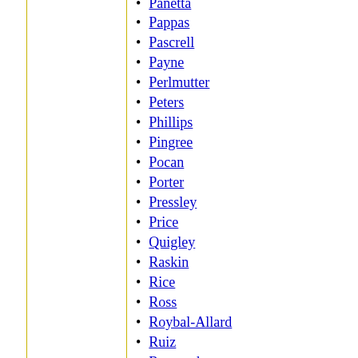Panetta
Pappas
Pascrell
Payne
Perlmutter
Peters
Phillips
Pingree
Pocan
Porter
Pressley
Price
Quigley
Raskin
Rice
Ross
Roybal-Allard
Ruiz
Ruppersberger
Rush
Ryan
Sánchez
Sarbanes
Scanlon
Schakowsky
Schiff